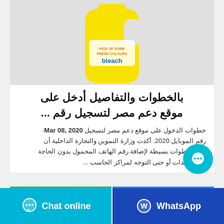[Figure (photo): Yellow plastic bottle/jug product on white background]
بالخطوات والتفاصيل أدخل على موقع دعم مصر لتسجيل رقم ...
Mar 08, 2020·خطوات الدخول على موقع دعم مصر لتسجيل رقم الموبايل 2020. أكدت وزارة التموين والتجارة الداخلية أن هناك خطوات بسيطة لإضافة رقم الهاتف المحمول بدون الحاجة إلى تعقيدات أو حتى التوجه لمراكز الحاسب ...
[Figure (other): Floating chat bubble button (cyan circle with three dots)]
Chat online   WhatsApp